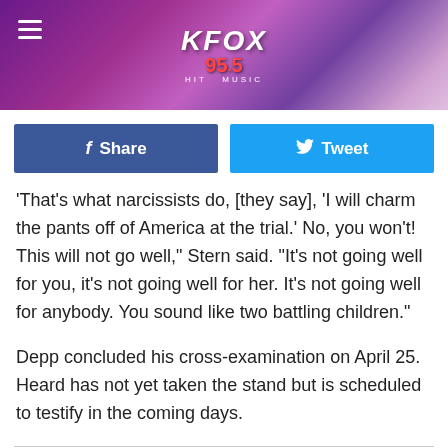[Figure (logo): KFOX 95.5 radio station logo on purple geometric background with hamburger menu icon]
[Figure (infographic): Social media share buttons: Facebook Share (blue) and Twitter Tweet (cyan)]
'That's what narcissists do, [they say], 'I will charm the pants off of America at the trial.' No, you won't! This will not go well," Stern said. "It's not going well for you, it's not going well for her. It's not going well for anybody. You sound like two battling children."
Depp concluded his cross-examination on April 25. Heard has not yet taken the stand but is scheduled to testify in the coming days.
CELEBRITIES ACCUSED OF TERRIBLE CRIMES